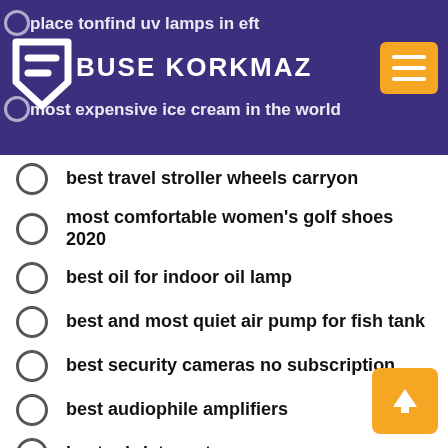[Figure (logo): Buse Korkmaz website header with logo icon, site name 'BUSE KORKMAZ' in white on purple background, and hamburger menu button in orange]
best travel stroller wheels carryon
most comfortable women's golf shoes 2020
best oil for indoor oil lamp
best and most quiet air pump for fish tank
best security cameras no subscription
best audiophile amplifiers
best rchristmas tree
best phone stereo speakers
best stroller options for disneyland
best low energy floor lamps